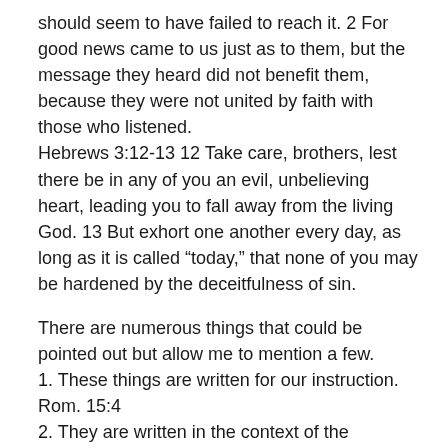should seem to have failed to reach it. 2 For good news came to us just as to them, but the message they heard did not benefit them, because they were not united by faith with those who listened. Hebrews 3:12-13 12 Take care, brothers, lest there be in any of you an evil, unbelieving heart, leading you to fall away from the living God. 13 But exhort one another every day, as long as it is called “today,” that none of you may be hardened by the deceitfulness of sin.
There are numerous things that could be pointed out but allow me to mention a few.
1. These things are written for our instruction. Rom. 15:4
2. They are written in the context of the community
3. We may be tempted to think discouragement as a small thing but it is not a small thing–especially within the common unity